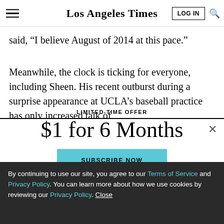Los Angeles Times
said, “I believe August of 2014 at this pace.”
Meanwhile, the clock is ticking for everyone, including Sheen. His recent outburst during a surprise appearance at UCLA’s baseball practice has only increased talk of
LIMITED-TIME OFFER
$1 for 6 Months
SUBSCRIBE NOW
By continuing to use our site, you agree to our Terms of Service and Privacy Policy. You can learn more about how we use cookies by reviewing our Privacy Policy. Close